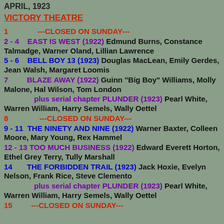APRIL, 1923
VICTORY THEATRE
1   ---CLOSED ON SUNDAY---
2 - 4   EAST IS WEST (1922) Edmund Burns, Constance Talmadge, Warner Oland, Lillian Lawrence
5 - 6   BELL BOY 13 (1923) Douglas MacLean, Emily Gerdes, Jean Walsh, Margaret Loomis
7   BLAZE AWAY (1922) Guinn "Big Boy" Williams, Molly Malone, Hal Wilson, Tom London
plus serial chapter PLUNDER (1923) Pearl White, Warren William, Harry Semels, Wally Oettel
8   ---CLOSED ON SUNDAY---
9 - 11   THE NINETY AND NINE (1922) Warner Baxter, Colleen Moore, Mary Young, Rex Hammel
12 - 13 TOO MUCH BUSINESS (1922) Edward Everett Horton, Ethel Grey Terry, Tully Marshall
14   THE FORBIDDEN TRAIL (1923) Jack Hoxie, Evelyn Nelson, Frank Rice, Steve Clemento
plus serial chapter PLUNDER (1923) Pearl White, Warren William, Harry Semels, Wally Oettel
15   ---CLOSED ON SUNDAY---